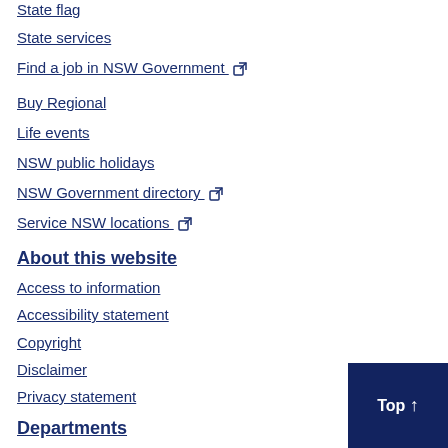State flag
State services
Find a job in NSW Government [external link]
Buy Regional
Life events
NSW public holidays
NSW Government directory [external link]
Service NSW locations [external link]
About this website
Access to information
Accessibility statement
Copyright
Disclaimer
Privacy statement
Departments
Customer Service